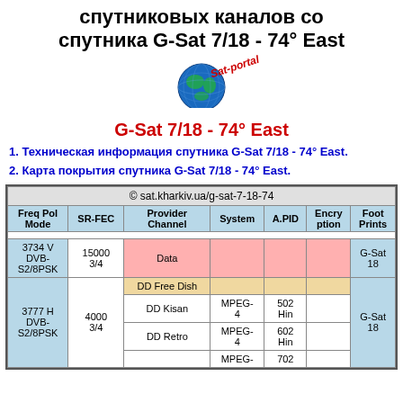спутниковых каналов со спутника G-Sat 7/18 - 74° East
[Figure (illustration): Globe with sat-portal logo and red italic 'Sat-portal' text overlay]
G-Sat 7/18 - 74° East
1. Техническая информация спутника G-Sat 7/18 - 74° East.
2. Карта покрытия спутника G-Sat 7/18 - 74° East.
| Freq Pol Mode | SR-FEC | Provider Channel | System | A.PID | Encryption | Foot Prints |
| --- | --- | --- | --- | --- | --- | --- |
| © sat.kharkiv.ua/g-sat-7-18-74 |  |  |  |  |  |  |
| 3734 V DVB-S2/8PSK | 15000 3/4 | Data |  |  |  | G-Sat 18 |
|  |  | DD Free Dish |  |  |  |  |
| 3777 H DVB-S2/8PSK | 4000 3/4 | DD Kisan | MPEG-4 | 502 Hin |  | G-Sat 18 |
|  |  | DD Retro | MPEG-4 | 602 Hin |  |  |
|  |  |  | MPEG- | 702 |  |  |